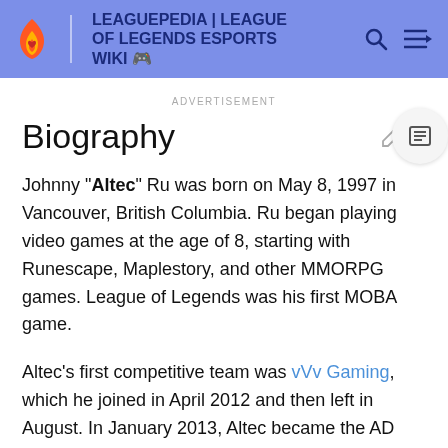LEAGUEPEDIA | LEAGUE OF LEGENDS ESPORTS WIKI
ADVERTISEMENT
Biography
Johnny "Altec" Ru was born on May 8, 1997 in Vancouver, British Columbia. Ru began playing video games at the age of 8, starting with Runescape, Maplestory, and other MMORPG games. League of Legends was his first MOBA game.
Altec's first competitive team was vVv Gaming, which he joined in April 2012 and then left in August. In January 2013, Altec became the AD carry for Curse Academy, where he stayed until July of the same year, and in